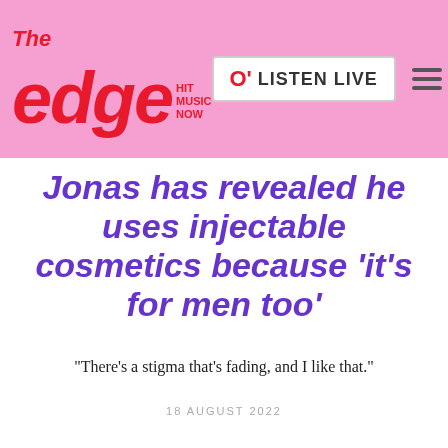The edge HIT MUSIC NOW — LISTEN LIVE
Jonas has revealed he uses injectable cosmetics because 'it's for men too'
"There's a stigma that's fading, and I like that."
18 AUGUST 2022